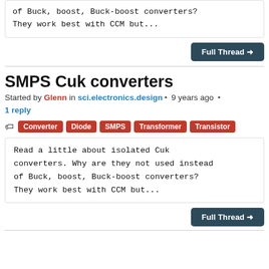of Buck, boost, Buck-boost converters? They work best with CCM but...
Full Thread →
SMPS Cuk converters
Started by Glenn in sci.electronics.design • 9 years ago • 1 reply
Converter
Diode
SMPS
Transformer
Transistor
Read a little about isolated Cuk converters. Why are they not used instead of Buck, boost, Buck-boost converters? They work best with CCM but...
Full Thread →